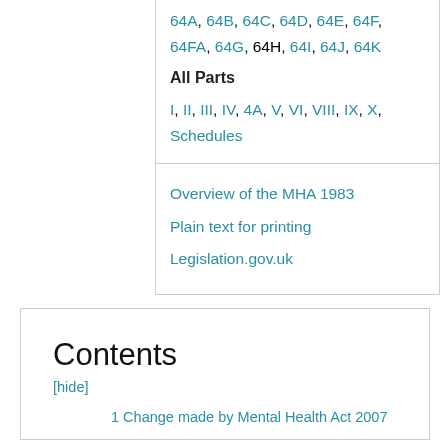64A, 64B, 64C, 64D, 64E, 64F, 64FA, 64G, 64H, 64I, 64J, 64K
All Parts
I, II, III, IV, 4A, V, VI, VIII, IX, X, Schedules
Overview of the MHA 1983
Plain text for printing
Legislation.gov.uk
Contents
[hide]
1 Change made by Mental Health Act 2007